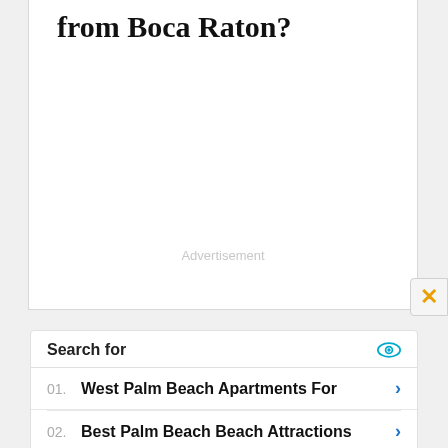from Boca Raton?
Advertisement
Search for
01. West Palm Beach Apartments For
02. Best Palm Beach Beach Attractions
Yahoo! Search | Sponsored